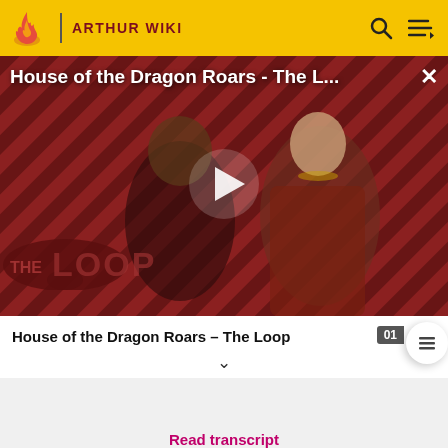ARTHUR WIKI
[Figure (screenshot): Video thumbnail for 'House of the Dragon Roars - The Loop' showing two characters from House of the Dragon against a diagonal red and dark stripe background, with a play button in the center and 'THE LOOP' text logo at bottom left.]
House of the Dragon Roars - The Loop
Read transcript